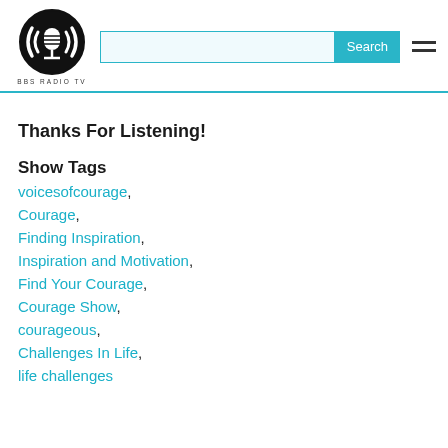BBS RADIO TV - Search - Menu
Thanks For Listening!
Show Tags
voicesofcourage,
Courage,
Finding Inspiration,
Inspiration and Motivation,
Find Your Courage,
Courage Show,
courageous,
Challenges In Life,
life challenges